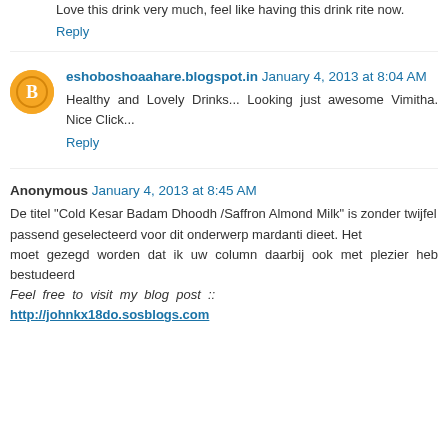Love this drink very much, feel like having this drink rite now.
Reply
eshoboshoaahare.blogspot.in January 4, 2013 at 8:04 AM
Healthy and Lovely Drinks... Looking just awesome Vimitha. Nice Click...
Reply
Anonymous January 4, 2013 at 8:45 AM
De titel "Cold Kesar Badam Dhoodh /Saffron Almond Milk" is zonder twijfel
passend geselecteerd voor dit onderwerp mardanti dieet. Het
moet gezegd worden dat ik uw column daarbij ook met plezier heb bestudeerd
Feel free to visit my blog post ::
http://johnkx18do.sosblogs.com